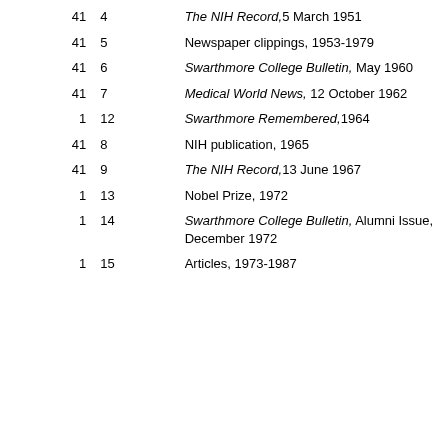| Box | Folder | Description |
| --- | --- | --- |
| 41 | 4 | The NIH Record, 5 March 1951 |
| 41 | 5 | Newspaper clippings, 1953-1979 |
| 41 | 6 | Swarthmore College Bulletin, May 1960 |
| 41 | 7 | Medical World News, 12 October 1962 |
| 1 | 12 | Swarthmore Remembered, 1964 |
| 41 | 8 | NIH publication, 1965 |
| 41 | 9 | The NIH Record, 13 June 1967 |
| 1 | 13 | Nobel Prize, 1972 |
| 1 | 14 | Swarthmore College Bulletin, Alumni Issue, December 1972 |
| 1 | 15 | Articles, 1973-1987 |